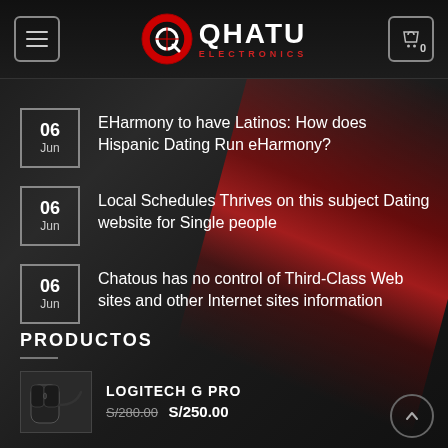QHATU ELECTRONICS — navigation header with menu button and cart showing 0
06 Jun — EHarmony to have Latinos: How does Hispanic Dating Run eHarmony?
06 Jun — Local Schedules Thrives on this subject Dating website for Single people
06 Jun — Chatous has no control of Third-Class Web sites and other Internet sites information
PRODUCTOS
LOGITECH G PRO — S/280.00  S/250.00